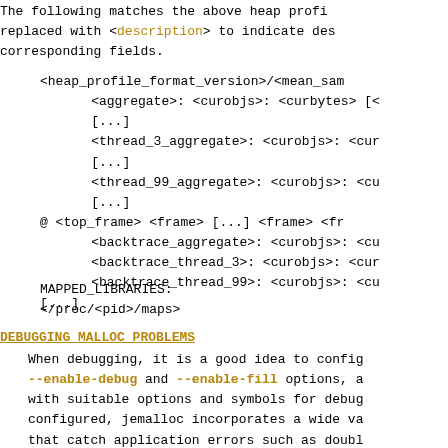The following matches the above heap profile, replaced with <description> to indicate des corresponding fields.
<heap_profile_format_version>/<mean_sam
    <aggregate>: <curobjs>: <curbytes> [<
    [...]
    <thread_3_aggregate>: <curobjs>: <cur
    [...]
    <thread_99_aggregate>: <curobjs>: <cu
    [...]
@ <top_frame> <frame> [...] <frame> <fr
    <backtrace_aggregate>: <curobjs>: <cu
    <backtrace_thread_3>: <curobjs>: <cur
    <backtrace_thread_99>: <curobjs>: <cu
[...]

MAPPED_LIBRARIES:
</proc/<pid>/maps>
DEBUGGING MALLOC PROBLEMS
When debugging, it is a good idea to config --enable-debug and --enable-fill options, a with suitable options and symbols for debu configured, jemalloc incorporates a wide va that catch application errors such as doubl etc.